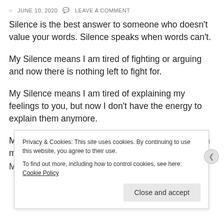JUNE 10, 2020  LEAVE A COMMENT
Silence is the best answer to someone who doesn't value your words. Silence speaks when words can't.
My Silence means I am tired of fighting or arguing and now there is nothing left to fight for.
My Silence means I am tired of explaining my feelings to you, but now I don't have the energy to explain them anymore.
My Silence means I have adopted to the changes in my life and I don't want to complain.
Privacy & Cookies: This site uses cookies. By continuing to use this website, you agree to their use.
To find out more, including how to control cookies, see here: Cookie Policy
Close and accept